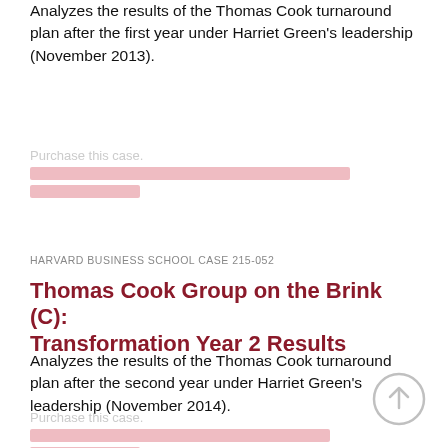Analyzes the results of the Thomas Cook turnaround plan after the first year under Harriet Green's leadership (November 2013).
Purchase this case. [blurred link]
HARVARD BUSINESS SCHOOL CASE 215-052
Thomas Cook Group on the Brink (C): Transformation Year 2 Results
Analyzes the results of the Thomas Cook turnaround plan after the second year under Harriet Green's leadership (November 2014).
Purchase this case. [blurred link]